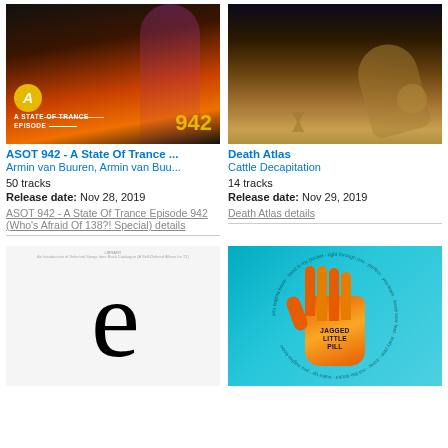[Figure (photo): Album art for ASOT 942 - A State Of Trance Episode 942, showing a person amid orange smoke with the ASOT logo and '942' text]
ASOT 942 - A State Of Trance ...
Armin van Buuren, Armin van Buu...
50 tracks
Release date: Nov 28, 2019
ASOT 942 - A State Of Trance Episode 942 (Who's Afraid Of 138?! Special) details
[Figure (photo): Death Atlas album art showing a skeleton figure kneeling in a dark scene with an hourglass]
Death Atlas
Cattle Decapitation
14 tracks
Release date: Nov 29, 2019
Death Atlas details
[Figure (photo): Album cover with a large black stylized lowercase letter 'e' on white background with small text at top]
[Figure (photo): Jagged Little Pill album cover showing an orange hand on teal/blue background with text 'JAGGED LITTLE PILL' written on the palm]